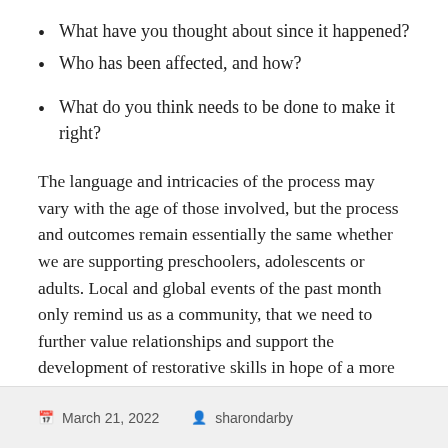What have you thought about since it happened?
Who has been affected, and how?
What do you think needs to be done to make it right?
The language and intricacies of the process may vary with the age of those involved, but the process and outcomes remain essentially the same whether we are supporting preschoolers, adolescents or adults. Local and global events of the past month only remind us as a community, that we need to further value relationships and support the development of restorative skills in hope of a more peaceful future community.
March 21, 2022  sharondarby